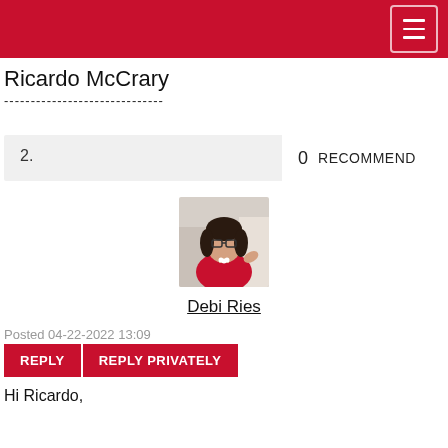Ricardo McCrary
------------------------------
2.    0  RECOMMEND
[Figure (photo): Profile photo of Debi Ries, a woman with dark hair and glasses wearing a red top with a white necklace]
Debi Ries
Posted 04-22-2022 13:09
REPLY  REPLY PRIVATELY
Hi Ricardo,